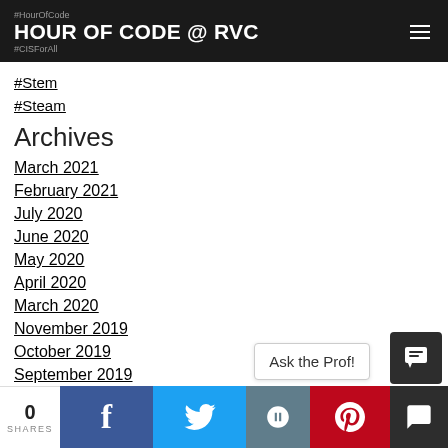#HourOfCode
HOUR OF CODE @ RVC
#CISForAll
#Stem
#Steam
Archives
March 2021
February 2021
July 2020
June 2020
May 2020
April 2020
March 2020
November 2019
October 2019
September 2019
August 2019
0 SHARES